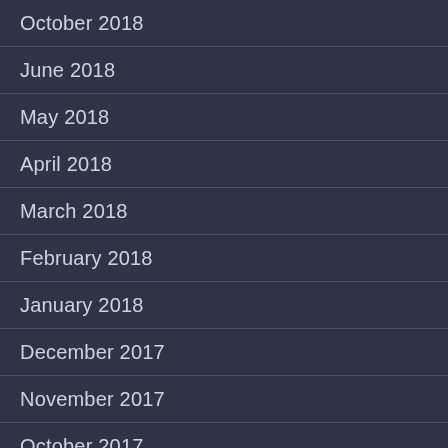October 2018
June 2018
May 2018
April 2018
March 2018
February 2018
January 2018
December 2017
November 2017
October 2017
September 2017
August 2017
July 2017